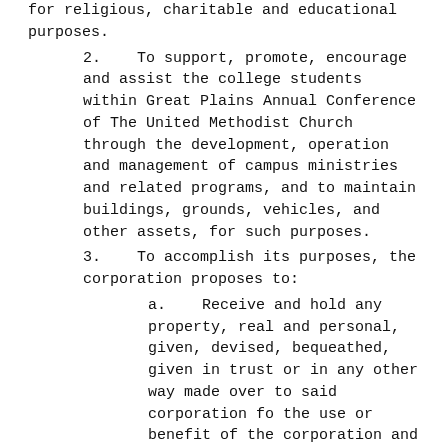for religious, charitable and educational purposes.
2.    To support, promote, encourage and assist the college students within Great Plains Annual Conference of The United Methodist Church through the development, operation and management of campus ministries and related programs, and to maintain buildings, grounds, vehicles, and other assets, for such purposes.
3.    To accomplish its purposes, the corporation proposes to:
a.    Receive and hold any property, real and personal, given, devised, bequeathed, given in trust or in any other way made over to said corporation fo the use or benefit of the corporation and for carrying on of activities to achieve said above-stated purpose as designated by the donor, grantor or testator;
b.    Invest or disburse all assets so received, and generally to care for, manage,